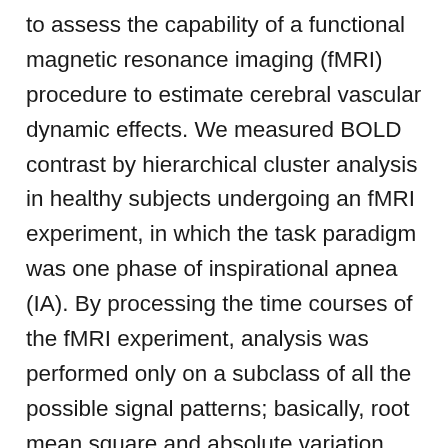to assess the capability of a functional magnetic resonance imaging (fMRI) procedure to estimate cerebral vascular dynamic effects. We measured BOLD contrast by hierarchical cluster analysis in healthy subjects undergoing an fMRI experiment, in which the task paradigm was one phase of inspirational apnea (IA). By processing the time courses of the fMRI experiment, analysis was performed only on a subclass of all the possible signal patterns; basically, root mean square and absolute variation differences have been calculated. Considering the baseline value obtained by computing the mean value of the initial rest period as reference, particular voxels showed relative important variations during the IA task and